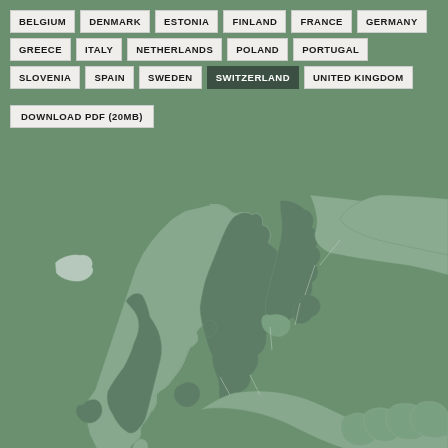BELGIUM
DENMARK
ESTONIA
FINLAND
FRANCE
GERMANY
GREECE
ITALY
NETHERLANDS
POLAND
PORTUGAL
SLOVENIA
SPAIN
SWEDEN
SWITZERLAND
UNITED KINGDOM
DOWNLOAD PDF (20MB)
[Figure (map): Map of Europe with countries highlighted in darker green shading indicating selected/covered countries. Shows Nordic and Western European regions including Iceland, UK, Scandinavia, and surrounding areas.]